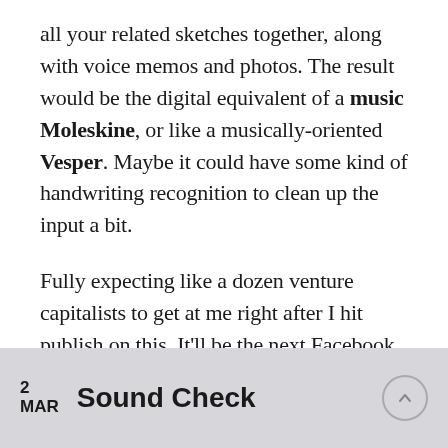all your related sketches together, along with voice memos and photos. The result would be the digital equivalent of a music Moleskine, or like a musically-oriented Vesper. Maybe it could have some kind of handwriting recognition to clean up the input a bit.

Fully expecting like a dozen venture capitalists to get at me right after I hit publish on this. It'll be the next Facebook, I tell ya!
1 REPLY
2 MAR  Sound Check